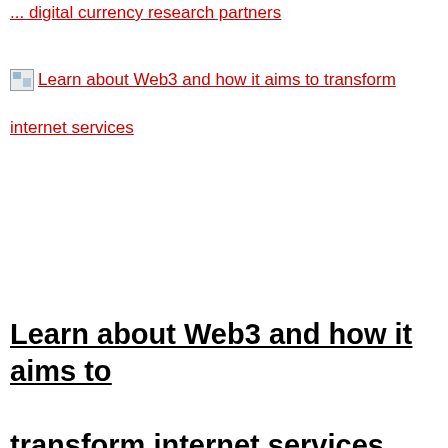... digital currency research partners
Learn about Web3 and how it aims to transform internet services
Learn about Web3 and how it aims to transform internet services
European crypto regulatory framework goes to three-way consideration without PoW ban
European crypto regulatory framework goes